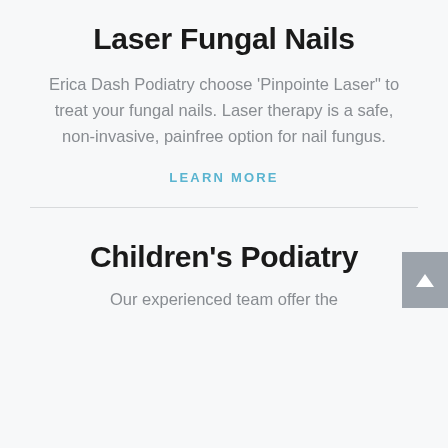Laser Fungal Nails
Erica Dash Podiatry choose 'Pinpointe Laser" to treat your fungal nails. Laser therapy is a safe, non-invasive, painfree option for nail fungus.
LEARN MORE
Children's Podiatry
Our experienced team offer the